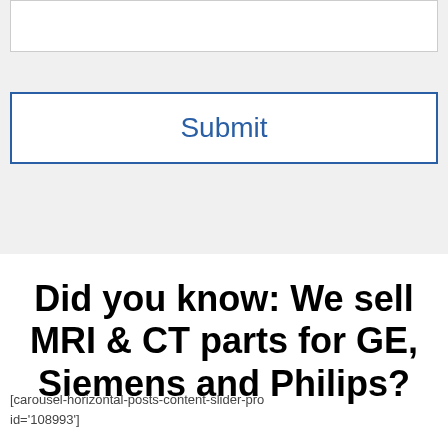[Figure (screenshot): White input text box (form field) with gray background surround]
[Figure (screenshot): Submit button with blue border and blue 'Submit' text on white background]
Did you know: We sell MRI & CT parts for GE, Siemens and Philips?
[carousel-horizontal-posts-content-slider-pro id='108993']